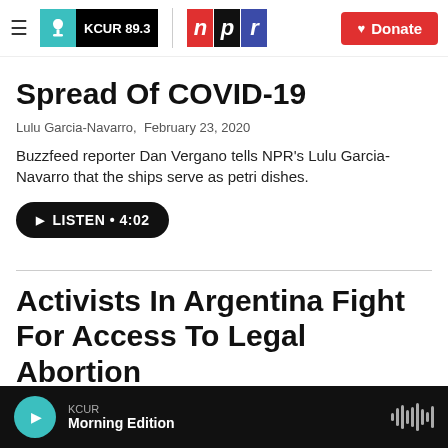KCUR 89.3 | NPR | Donate
Spread Of COVID-19
Lulu Garcia-Navarro,  February 23, 2020
Buzzfeed reporter Dan Vergano tells NPR's Lulu Garcia-Navarro that the ships serve as petri dishes.
LISTEN • 4:02
Activists In Argentina Fight For Access To Legal Abortion
KCUR Morning Edition